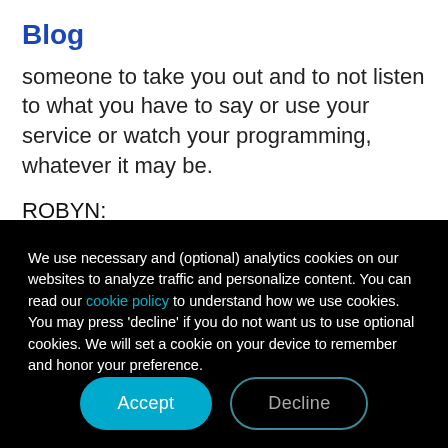Blog
someone to take you out and to not listen to what you have to say or use your service or watch your programming, whatever it may be.
ROBYN:
We use necessary and (optional) analytics cookies on our websites to analyze traffic and personalize content. You can read our cookie policy to understand how we use cookies. You may press 'decline' if you do not want us to use optional cookies. We will set a cookie on your device to remember and honor your preference.